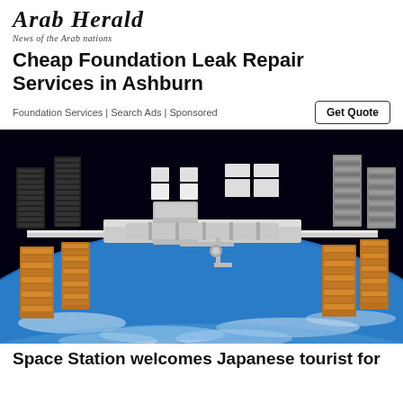Arab Herald — News of the Arab nations
Cheap Foundation Leak Repair Services in Ashburn
Foundation Services | Search Ads | Sponsored
[Figure (photo): Photograph of the International Space Station (ISS) in orbit above Earth, showing solar panels, golden thermal radiators, and Earth's blue surface with cloud cover below against black space.]
Space Station welcomes Japanese tourist for